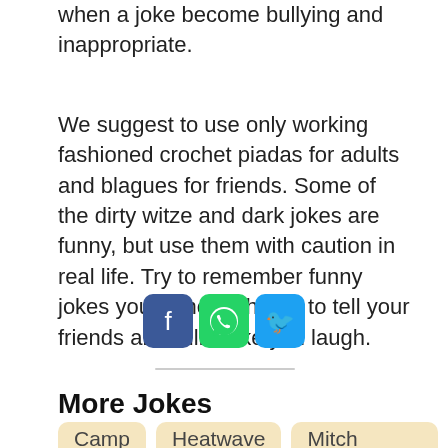when a joke become bullying and inappropriate.
We suggest to use only working fashioned crochet piadas for adults and blagues for friends. Some of the dirty witze and dark jokes are funny, but use them with caution in real life. Try to remember funny jokes you've never heard to tell your friends and will make you laugh.
[Figure (other): Social share buttons: Facebook (blue), WhatsApp (green), Twitter (light blue)]
More Jokes
Camp  Heatwave  Mitch hedberg